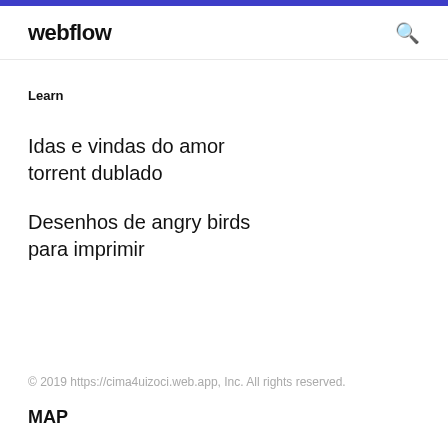webflow
Learn
Idas e vindas do amor torrent dublado
Desenhos de angry birds para imprimir
© 2019 https://cima4uizoci.web.app, Inc. All rights reserved.
MAP